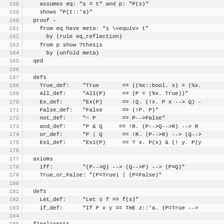[Figure (other): Source code listing (formal proof assistant / Isabelle-style) showing lines 158-189 with line numbers and alternating row shading. Content includes proof definitions, axioms, defs, and finalconsts blocks.]